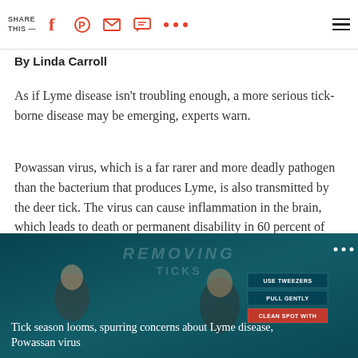SHARE THIS —
By Linda Carroll
As if Lyme disease isn't troubling enough, a more serious tick-borne disease may be emerging, experts warn.
Powassan virus, which is a far rarer and more deadly pathogen than the bacterium that produces Lyme, is also transmitted by the deer tick. The virus can cause inflammation in the brain, which leads to death or permanent disability in 60 percent of cases.
[Figure (screenshot): Video thumbnail showing TV segment about tick removal with text overlay 'Tick season looms, spurring concerns about Lyme disease, Powassan virus'. Background shows teal/blue studio set with two people and instructions panel showing USE TWEEZERS, PULL GENTLY, CLEAN SPOT WITH.]